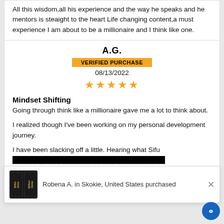All this wisdom,all his experience and the way he speaks and he mentors is steaight to the heart Life changing content,a must experience I am about to be a millionaire and I think like one.
A.G.
VERIFIED PURCHASE
08/13/2022
★★★★★
Mindset Shifting
Going through think like a millionaire gave me a lot to think about.

I realized though I've been working on my personal development journey.

I have been slacking off a little. Hearing what Sifu
...
hard towards achieving my goal of becoming a millionaire before the age of 30!
Robena A. in Skokie, United States purchased